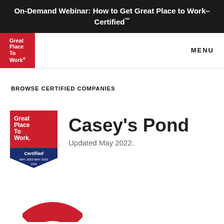On-Demand Webinar: How to Get Great Place to Work-Certified™
[Figure (logo): Great Place To Work logo (white text on red background) in navigation bar]
MENU
BROWSE CERTIFIED COMPANIES
[Figure (logo): Great Place To Work Certified badge - MAY 2022-MAY 2023 USA]
Casey's Pond
Updated May 2022.
[Figure (logo): Partial red arc/logo at bottom of page]